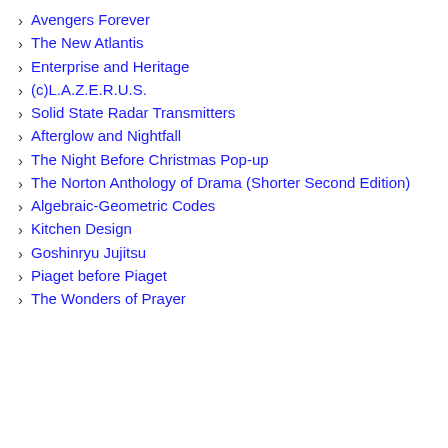Avengers Forever
The New Atlantis
Enterprise and Heritage
(c)L.A.Z.E.R.U.S.
Solid State Radar Transmitters
Afterglow and Nightfall
The Night Before Christmas Pop-up
The Norton Anthology of Drama (Shorter Second Edition)
Algebraic-Geometric Codes
Kitchen Design
Goshinryu Jujitsu
Piaget before Piaget
The Wonders of Prayer